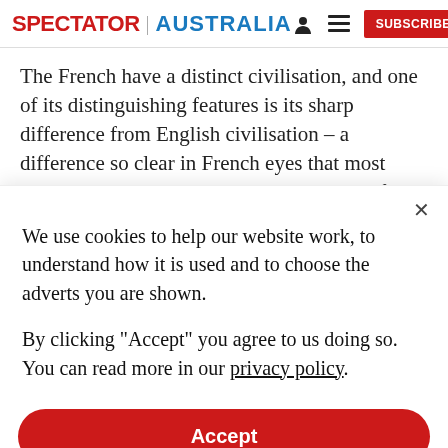SPECTATOR | AUSTRALIA  [person icon] [menu icon] SUBSCRIBE
The French have a distinct civilisation, and one of its distinguishing features is its sharp difference from English civilisation – a difference so clear in French eyes that most French people will laugh at the very idea of 'English civilisation', just as they might crack up at
We use cookies to help our website work, to understand how it is used and to choose the adverts you are shown.
By clicking "Accept" you agree to us doing so. You can read more in our privacy policy.
Accept